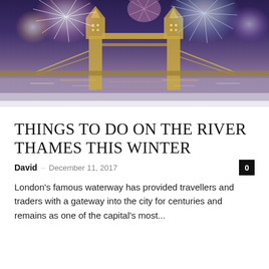[Figure (photo): Aerial/night photo of Tower Bridge London with colorful fireworks bursting in the sky above and around the bridge, reflecting on the Thames river below. The scene is festive with purple/blue night sky.]
THINGS TO DO ON THE RIVER THAMES THIS WINTER
David – December 11, 2017   0
London's famous waterway has provided travellers and traders with a gateway into the city for centuries and remains as one of the capital's most...